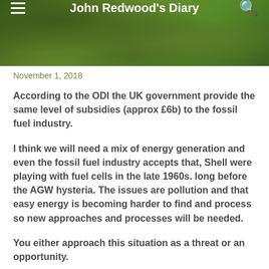John Redwood's Diary
November 1, 2018
According to the ODI the UK government provide the same level of subsidies (approx £6b) to the fossil fuel industry.
I think we will need a mix of energy generation and even the fossil fuel industry accepts that, Shell were playing with fuel cells in the late 1960s. long before the AGW hysteria. The issues are pollution and that easy energy is becoming harder to find and process so new approaches and processes will be needed.
You either approach this situation as a threat or an opportunity.